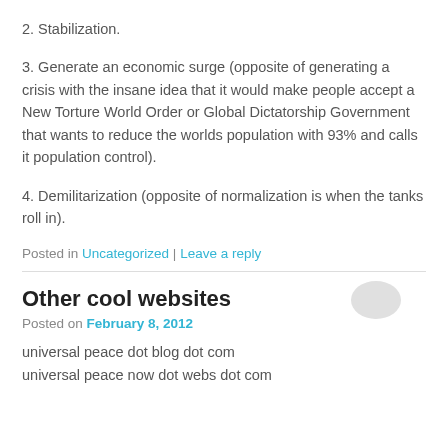2. Stabilization.
3. Generate an economic surge (opposite of generating a crisis with the insane idea that it would make people accept a New Torture World Order or Global Dictatorship Government that wants to reduce the worlds population with 93% and calls it population control).
4. Demilitarization (opposite of normalization is when the tanks roll in).
Posted in Uncategorized | Leave a reply
Other cool websites
Posted on February 8, 2012
universal peace dot blog dot com
universal peace now dot webs dot com